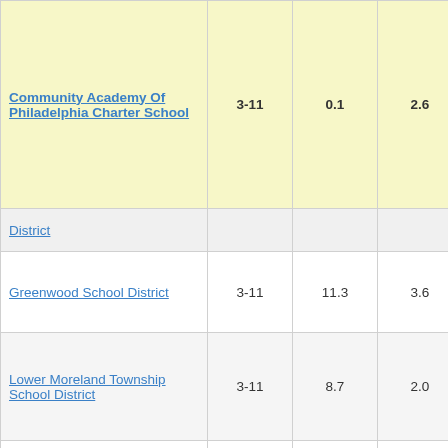| School/District | Grades | Col3 | Col4 | Col5 | Col6 |
| --- | --- | --- | --- | --- | --- |
| Community Academy Of Philadelphia Charter School | 3-11 | 0.1 | 2.6 | 0.06 |  |
| District |  |  |  |  |  |
| Greenwood School District | 3-11 | 11.3 | 3.6 | 3.14 | 3 |
| Lower Moreland Township School District | 3-11 | 8.7 | 2.0 | 4.35 | 3 |
| Avon Grove School District | 3-10 | 7.6 | 1.4 | 5.29 | 3 |
| North Pocono School District | 3-11 | 13.1 | 3.7 | 3.54 | 3 |
| Great Valley School District | 3-11 | 5.4 | 2.0 | 2.77 | 3 |
| Methacton School District | 3-11 | 11.0 | 1.6 | 6.94 | 3 |